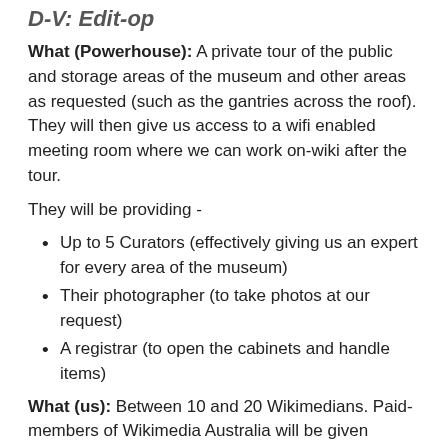D-V: Edit-op
What (Powerhouse): A private tour of the public and storage areas of the museum and other areas as requested (such as the gantries across the roof). They will then give us access to a wifi enabled meeting room where we can work on-wiki after the tour.
They will be providing -
Up to 5 Curators (effectively giving us an expert for every area of the museum)
Their photographer (to take photos at our request)
A registrar (to open the cabinets and handle items)
What (us): Between 10 and 20 Wikimedians. Paid-members of Wikimedia Australia will be given preference, otherwise it is first come, first served.
We would help improve 4 types of content:
Articles about specific artifacts in the museum collection